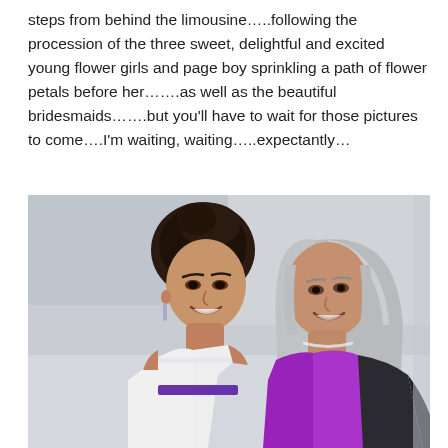steps from behind the limousine…..following the procession of the three sweet, delightful and excited young flower girls and page boy sprinkling a path of flower petals before her…….as well as the beautiful bridesmaids…….but you'll have to wait for those pictures to come….I'm waiting, waiting…..expectantly…
[Figure (photo): Two women smiling together. On the left, a younger woman with dark hair up, wearing a white strapless wedding dress with purple accent. On the right, an older woman with long silver-gray hair wearing a purple top and dark jacket.]